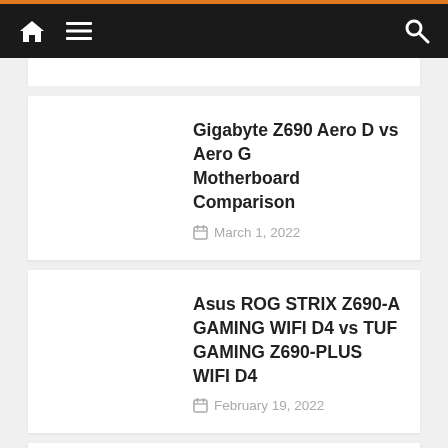Home | Menu | Search
Gigabyte Z690 Aero D vs Aero G Motherboard Comparison
March 1, 2022
Asus ROG STRIX Z690-A GAMING WIFI D4 vs TUF GAMING Z690-PLUS WIFI D4
February 19, 2022
Asus ROG Maximus Z690 Extreme vs Hero Motherboard
November 16, 2021